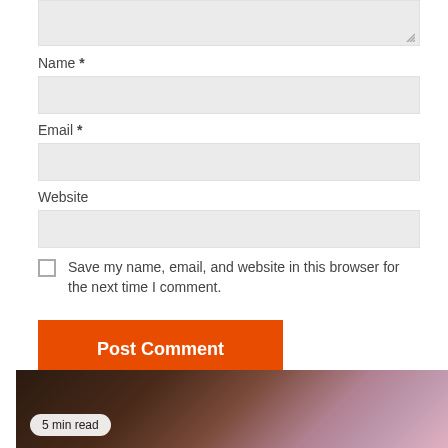Name *
Email *
Website
Save my name, email, and website in this browser for the next time I comment.
Post Comment
MORE NEWS
5 min read